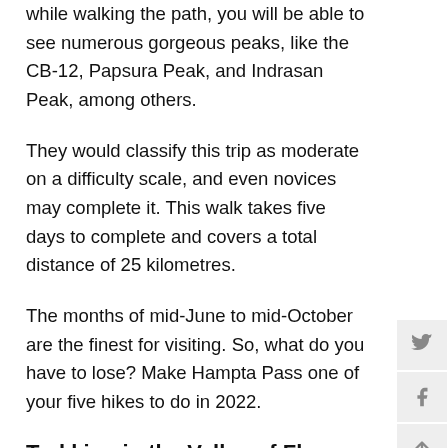while walking the path, you will be able to see numerous gorgeous peaks, like the CB-12, Papsura Peak, and Indrasan Peak, among others.
They would classify this trip as moderate on a difficulty scale, and even novices may complete it. This walk takes five days to complete and covers a total distance of 25 kilometres.
The months of mid-June to mid-October are the finest for visiting. So, what do you have to lose? Make Hampta Pass one of your five hikes to do in 2022.
Trekking in the Valley of Flowers
Valley Of Flower walk is headquartered in Chamoli